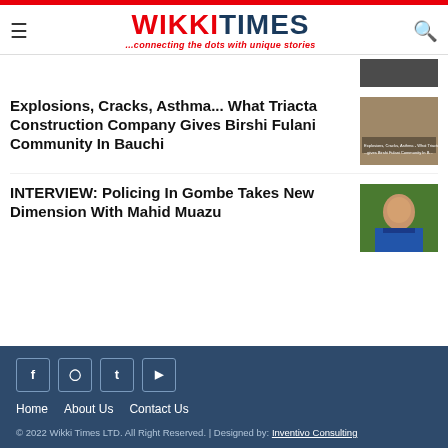WIKKI TIMES ...connecting the dots with unique stories
Explosions, Cracks, Asthma... What Triacta Construction Company Gives Birshi Fulani Community In Bauchi
INTERVIEW: Policing In Gombe Takes New Dimension With Mahid Muazu
Home | About Us | Contact Us
© 2022 Wikki Times LTD. All Right Reserved. | Designed by: Inventivo Consulting